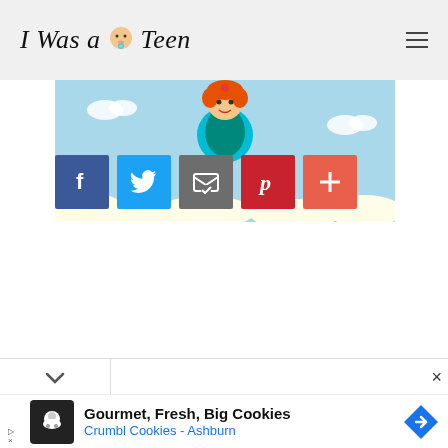I Was a Teen
[Figure (illustration): Cartoon baby/child floating in the sky holding a blue lollipop, with clouds on a light blue background]
[Figure (infographic): Social sharing buttons: Facebook (f), Twitter (bird), Email (envelope), Pinterest (P), More (+)]
[Figure (screenshot): Notification bar with chevron down arrow and X close button]
[Figure (infographic): Advertisement banner: Crumbl Cookies logo, text 'Gourmet, Fresh, Big Cookies', 'Crumbl Cookies - Ashburn', navigation arrow icon]